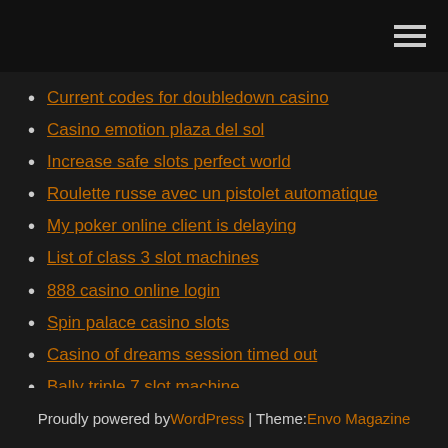[hamburger menu icon]
Current codes for doubledown casino
Casino emotion plaza del sol
Increase safe slots perfect world
Roulette russe avec un pistolet automatique
My poker online client is delaying
List of class 3 slot machines
888 casino online login
Spin palace casino slots
Casino of dreams session timed out
Bally triple 7 slot machine
Como ganar a la ruleta electronica del casino
Proudly powered by WordPress | Theme: Envo Magazine